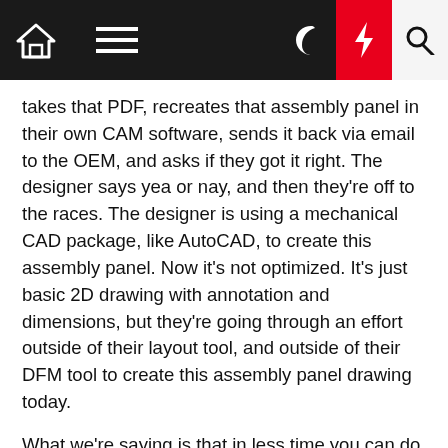[Navigation bar with home, menu, moon, bolt, search icons]
takes that PDF, recreates that assembly panel in their own CAM software, sends it back via email to the OEM, and asks if they got it right. The designer says yea or nay, and then they're off to the races. The designer is using a mechanical CAD package, like AutoCAD, to create this assembly panel. Now it's not optimized. It's just basic 2D drawing with annotation and dimensions, but they're going through an effort outside of their layout tool, and outside of their DFM tool to create this assembly panel drawing today.
What we're saying is that in less time you can do that because you also have to put in the other features, which I believe I mentioned in the paper. You have to put in other features, like where do you want to break tabs? And are you going to have